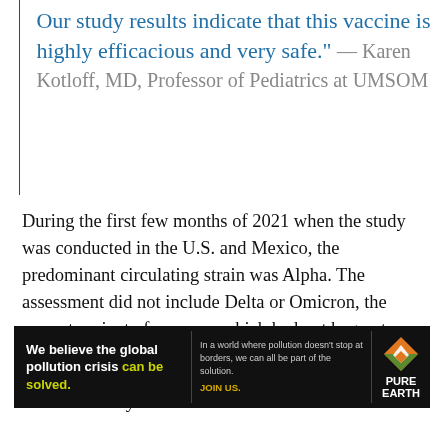Our study results indicate that this vaccine is highly efficacious and very safe." — Karen Kotloff, MD, Professor of Pediatrics at UMSOM
During the first few months of 2021 when the study was conducted in the U.S. and Mexico, the predominant circulating strain was Alpha. The assessment did not include Delta or Omicron, the newest variant of concern, which had not begun to circulate.
Most side effects were mild to moderate and transient. Fever was very rare. The most common
[Figure (infographic): Advertisement banner for Pure Earth organization: black background with white bold text 'We believe the global pollution crisis can be solved.' (with 'can be solved.' in yellow-green), smaller white text 'In a world where pollution doesn't stop at borders, we can all be part of the solution.' with 'JOIN US.' in gold/yellow, and the Pure Earth logo (diamond shape with leaf/arrow icon in orange/green) with 'PURE EARTH' in white bold text.]